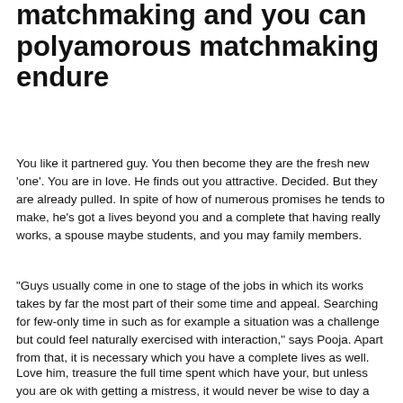matchmaking and you can polyamorous matchmaking endure
You like it partnered guy. You then become they are the fresh new 'one'. You are in love. He finds out you attractive. Decided. But they are already pulled. In spite of how of numerous promises he tends to make, he's got a lives beyond you and a complete that having really works, a spouse maybe students, and you may family members.
“Guys usually come in one to stage of the jobs in which its works takes by far the most part of their some time and appeal. Searching for few-only time in such as for example a situation was a challenge but could feel naturally exercised with interaction,” says Pooja. Apart from that, it is necessary which you have a complete lives as well.
Love him, treasure the full time spent which have your, but unless you are ok with getting a mistress, it would never be wise to day a married man and you may just have him as the ‘only’ member of